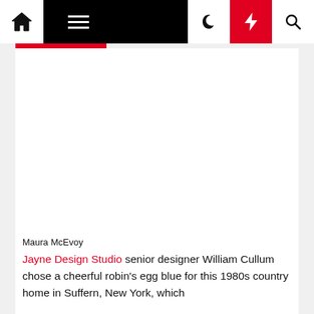Navigation bar with home, menu, moon, bolt, search icons
[Figure (photo): Large white/blank image placeholder area for a photo]
Maura McEvoy
Jayne Design Studio senior designer William Cullum chose a cheerful robin's egg blue for this 1980s country home in Suffern, New York, which